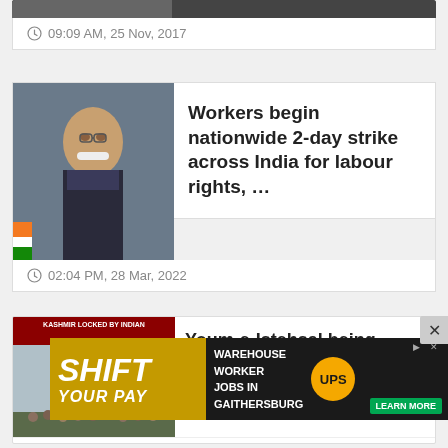09:09 AM, 25 Nov, 2017
[Figure (photo): Partial newspaper article card with image (cropped at top)]
Workers begin nationwide 2-day strike across India for labour rights, …
02:04 PM, 28 Mar, 2022
[Figure (photo): Portrait photo of Narendra Modi]
Youm-e-Istehsal being observed today to express solidarity with …
12:…
[Figure (photo): Kashmir protest image with 'KASHMIR LOCKED BY INDIAN' banner]
[Figure (infographic): Advertisement overlay: SHIFT YOUR PAY with UPS Warehouse Worker Jobs in Gaithersburg, LEARN MORE button]